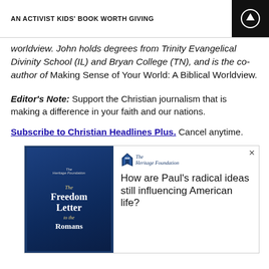AN ACTIVIST KIDS' BOOK WORTH GIVING
worldview. John holds degrees from Trinity Evangelical Divinity School (IL) and Bryan College (TN), and is the co-author of Making Sense of Your World: A Biblical Worldview.
Editor's Note: Support the Christian journalism that is making a difference in your faith and our nations.
Subscribe to Christian Headlines Plus. Cancel anytime.
[Figure (infographic): Advertisement for The Heritage Foundation's 'The Freedom Letter to the Romans' book, asking 'How are Paul's radical ideas still influencing American life?']